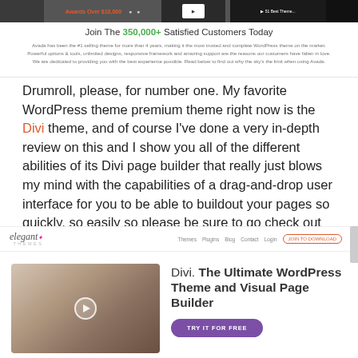[Figure (screenshot): Avada WordPress theme website banner at the top of the page, showing navigation and partial content]
Join The 350,000+ Satisfied Customers Today
Avada has been the #1 selling theme for more than 4 years, making it the most trusted and complete WordPress theme on the market. Powerful options & tools, unlimited designs, responsive framework and amazing support are the reasons our customers have fallen in love. We are dedicated to providing you with the best experience possible. Read below to find out why the sky's the limit when using Avada.
Drumroll, please, for number one. My favorite WordPress theme premium theme right now is the Divi theme, and of course I've done a very in-depth review on this and I show you all of the different abilities of its Divi page builder that really just blows my mind with the capabilities of a drag-and-drop user interface for you to be able to buildout your pages so quickly, so easily so please be sure to go check out the Divi theme.
[Figure (screenshot): Elegant Themes website navbar showing logo, navigation links (Themes, Plugins, Blog, Contact, Login) and Join to Download button]
[Figure (screenshot): Divi theme website preview showing a woman looking sideways with a play button overlay, and text: Divi. The Ultimate WordPress Theme and Visual Page Builder, with a purple Try It For Free button]